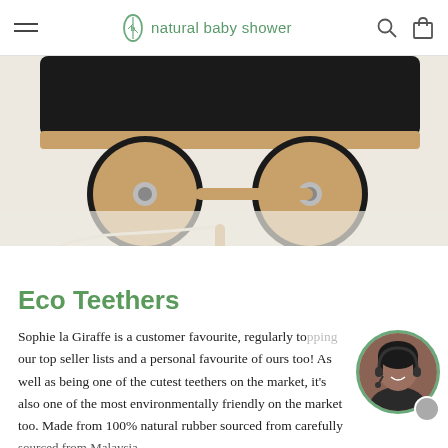natural baby shower
[Figure (photo): Close-up photo of a wooden pull toy showing two large wooden wheels with metal axle bolts on a pale carpet surface, with a white cord and wooden handle visible]
Eco Teethers
Sophie la Giraffe is a customer favourite, regularly topping our top seller lists and a personal favourite of ours too! As well as being one of the cutest teethers on the market, it's also one of the most environmentally friendly on the market too. Made from 100% natural rubber sourced from carefully
[Figure (photo): Circular chat support avatar showing a smiling woman with headset, with a grey online status dot]